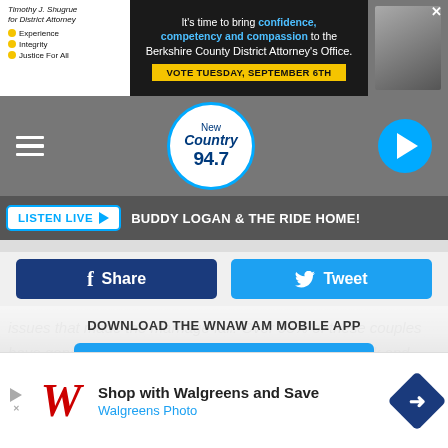[Figure (screenshot): Top advertisement banner for Timothy J. Shugrue for District Attorney with text: It's time to bring confidence, competency and compassion to the Berkshire County District Attorney's Office. VOTE TUESDAY, SEPTEMBER 6TH]
[Figure (logo): New Country 94.7 radio station logo in circular badge with hamburger menu and play button]
LISTEN LIVE ► BUDDY LOGAN & THE RIDE HOME!
[Figure (screenshot): Share and Tweet social media buttons]
issues that made the marriage fail. Over 95% of these couples have gone through this step to maneuver "a clean break and fresh start" in one of the next chapter of their lives.
DOWNLOAD THE WNAW AM MOBILE APP
GET OUR FREE MOBILE APP
Also listen on: amazon alexa
[Figure (screenshot): Walgreens advertisement: Shop with Walgreens and Save / Walgreens Photo]